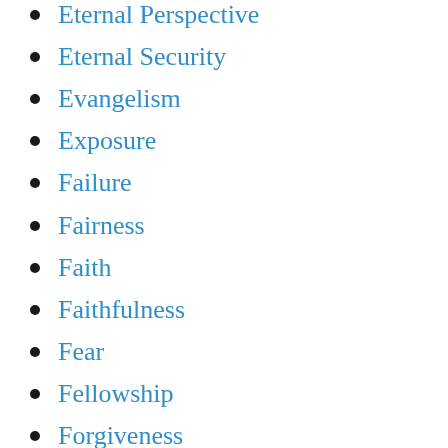Eternal Perspective
Eternal Security
Evangelism
Exposure
Failure
Fairness
Faith
Faithfulness
Fear
Fellowship
Forgiveness
Free Will
Freedom
Freedom to choose
Friendship
Fruitfulness
Fulfillment